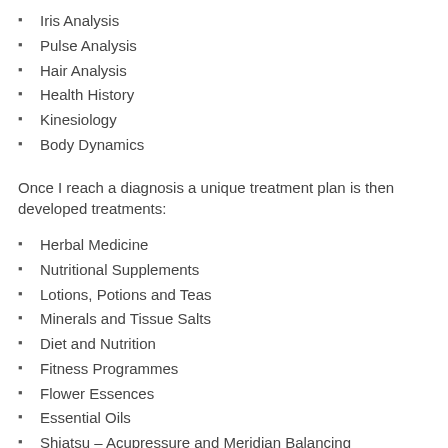Iris Analysis
Pulse Analysis
Hair Analysis
Health History
Kinesiology
Body Dynamics
Once I reach a diagnosis a unique treatment plan is then developed treatments:
Herbal Medicine
Nutritional Supplements
Lotions, Potions and Teas
Minerals and Tissue Salts
Diet and Nutrition
Fitness Programmes
Flower Essences
Essential Oils
Shiatsu – Acupressure and Meridian Balancing
Remedial Bodywork
Counselling for health and emotional wellbeing
Reiki and energy healing
Meditation for stress, pain reduction, aspirations
Children's remedies
Homeopathic…